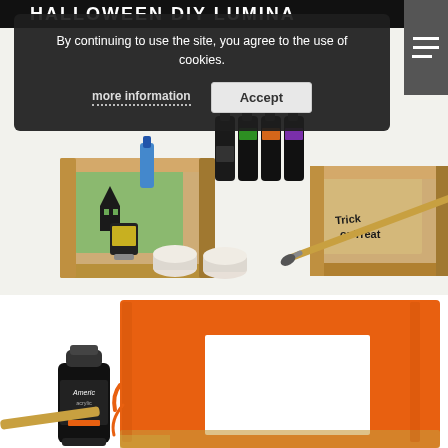HALLOWEEN DIY LUMINA
[Figure (photo): Halloween DIY luminary kit components: wood shadow box frames, small paint bottles (black, green, orange, purple), two white tea light candles, wooden laser-cut Halloween decorations (haunted house, trick or treat text), and a paint brush.]
By continuing to use the site, you agree to the use of cookies.
more information
Accept
[Figure (photo): A wooden shadow box frame being painted orange with a brush stroke, with a small bottle of orange American acrylic paint (labeled 'Americana') leaning against it on a white background.]